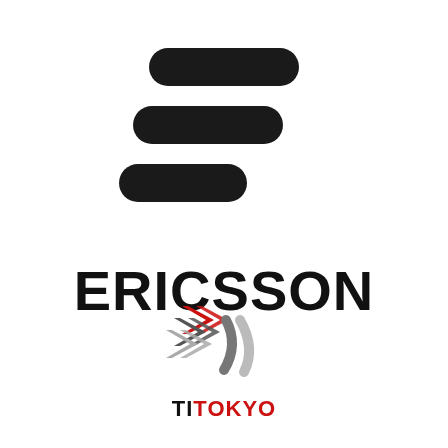[Figure (logo): Ericsson logo: three horizontal rounded bars arranged in a stacked, slightly offset pattern forming a stylized 'E', in dark/black color]
ERICSSON
[Figure (logo): TI Tokyo logo: abstract figure made of stylized arrow shapes in red, grey, and light grey, resembling a person or movement icon, with text 'TI TOKYO' below]